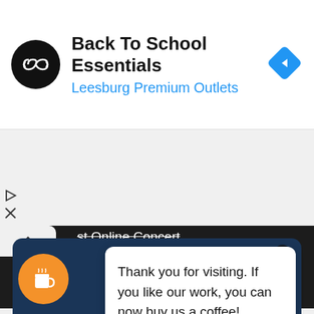[Figure (screenshot): Advertisement banner: black circular logo with double-arrow infinity symbol, title 'Back To School Essentials', subtitle 'Leesburg Premium Outlets' in blue, blue diamond navigation arrow icon on right]
[Figure (screenshot): Partial UI overlay showing play and close (X) icons on left, dark bar with partial text 'st Online Concert' with strikethrough, white tab with up caret]
[Figure (screenshot): Bottom section: blue card background, white popup card with text 'Thank you for visiting. If you like our work, you can now buy us a coffee!', orange circular coffee cup button on lower left]